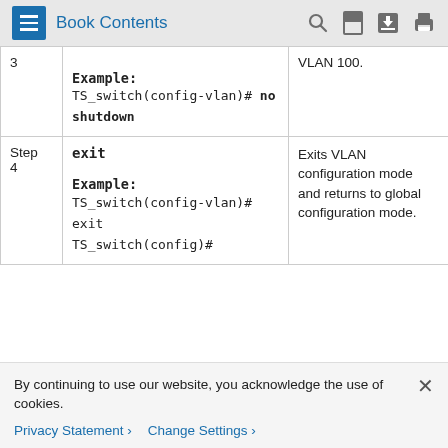Book Contents
| Step | Command | Description |
| --- | --- | --- |
| 3 | Example:
TS_switch(config-vlan)# no shutdown | VLAN 100. |
| Step 4 | exit

Example:
TS_switch(config-vlan)# exit
TS_switch(config)# | Exits VLAN configuration mode and returns to global configuration mode. |
By continuing to use our website, you acknowledge the use of cookies.
Privacy Statement > Change Settings >